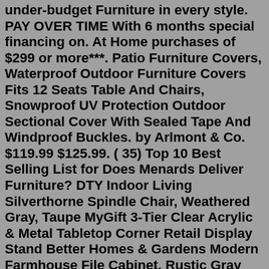under-budget Furniture in every style. PAY OVER TIME With 6 months special financing on. At Home purchases of $299 or more***. Patio Furniture Covers, Waterproof Outdoor Furniture Covers Fits 12 Seats Table And Chairs, Snowproof UV Protection Outdoor Sectional Cover With Sealed Tape And Windproof Buckles. by Arlmont & Co. $119.99 $125.99. ( 35) Top 10 Best Selling List for Does Menards Deliver Furniture? DTY Indoor Living Silverthorne Spindle Chair, Weathered Gray, Taupe MyGift 3-Tier Clear Acrylic & Metal Tabletop Corner Retail Display Stand Better Homes & Gardens Modern Farmhouse File Cabinet, Rustic Gray Finish Creative Co-op 20″ Metal Rectangle Table Occassional Furniture, SilverLuxurious patio furniture set. 7-piece patio furniture set includes 4 single chairs, 2 corner chairs, 1 table with tempered glass top, 6 cushions, and 8 decorative pillows. Customize the layout combination to meet your needs. You can spend quality time with your friends and neighbors on the patio, pool, garden, patio, backyard